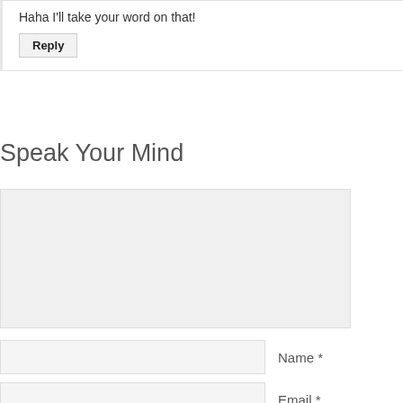Haha I'll take your word on that!
Reply
Speak Your Mind
Name *
Email *
Website